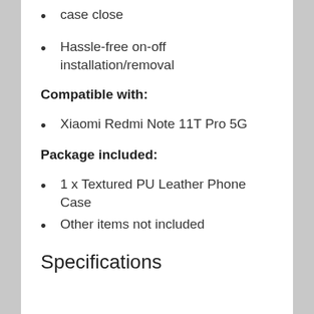case close
Hassle-free on-off installation/removal
Compatible with:
Xiaomi Redmi Note 11T Pro 5G
Package included:
1 x Textured PU Leather Phone Case
Other items not included
Specifications